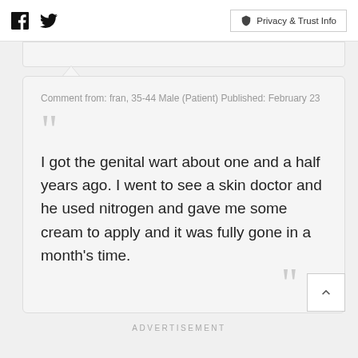Facebook Twitter | Privacy & Trust Info
Comment from: fran, 35-44 Male (Patient) Published: February 23
I got the genital wart about one and a half years ago. I went to see a skin doctor and he used nitrogen and gave me some cream to apply and it was fully gone in a month's time.
ADVERTISEMENT